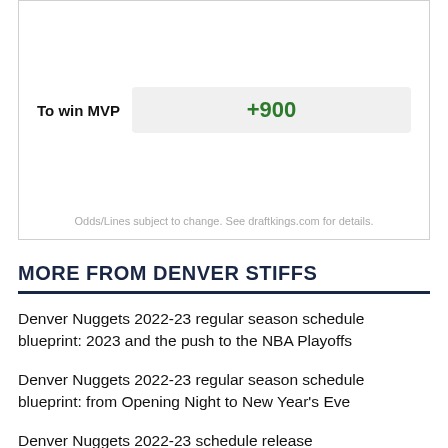| To win MVP | Odds |
| --- | --- |
| To win MVP | +900 |
Odds/Lines subject to change. See draftkings.com for details.
MORE FROM DENVER STIFFS
Denver Nuggets 2022-23 regular season schedule blueprint: 2023 and the push to the NBA Playoffs
Denver Nuggets 2022-23 regular season schedule blueprint: from Opening Night to New Year's Eve
Denver Nuggets 2022-23 schedule release
Now healthy, the Nuggets have no lack of interesting